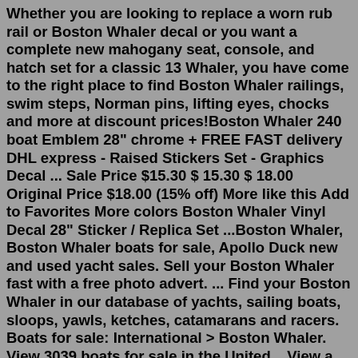Whether you are looking to replace a worn rub rail or Boston Whaler decal or you want a complete new mahogany seat, console, and hatch set for a classic 13 Whaler, you have come to the right place to find Boston Whaler railings, swim steps, Norman pins, lifting eyes, chocks and more at discount prices!Boston Whaler 240 boat Emblem 28" chrome + FREE FAST delivery DHL express - Raised Stickers Set - Graphics Decal ... Sale Price $15.30 $ 15.30 $ 18.00 Original Price $18.00 (15% off) More like this Add to Favorites More colors Boston Whaler Vinyl Decal 28" Sticker / Replica Set ...Boston Whaler, Boston Whaler boats for sale, Apollo Duck new and used yacht sales. Sell your Boston Whaler fast with a free photo advert. ... Find your Boston Whaler in our database of yachts, sailing boats, sloops, yawls, ketches, catamarans and racers. Boats for sale: International > Boston Whaler. View 3039 boats for sale in the United ...View a wide selection of Boston Whaler boats for sale in your area, explore detailed information & find your next boat on boats.com